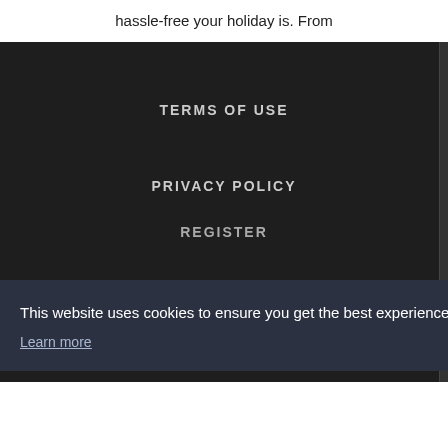hassle-free your holiday is. From
TERMS OF USE
PRIVACY POLICY
REGISTER
This website uses cookies to ensure you get the best experience on our website. Learn more